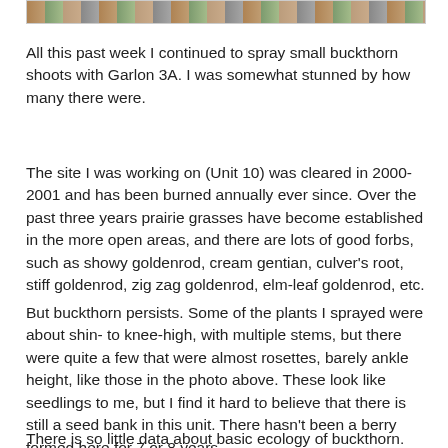[Figure (photo): A strip of photos at the top of the page showing plants/nature scenes]
All this past week I continued to spray small buckthorn shoots with Garlon 3A. I was somewhat stunned by how many there were.
The site I was working on (Unit 10) was cleared in 2000-2001 and has been burned annually ever since. Over the past three years prairie grasses have become established in the more open areas, and there are lots of good forbs, such as showy goldenrod, cream gentian, culver's root, stiff goldenrod, zig zag goldenrod, elm-leaf goldenrod, etc.
But buckthorn persists. Some of the plants I sprayed were about shin- to knee-high, with multiple stems, but there were quite a few that were almost rosettes, barely ankle height, like those in the photo above. These look like seedlings to me, but I find it hard to believe that there is still a seed bank in this unit. There hasn't been a berry formed here for 7 or 8 years.
There is so little data about basic ecology of buckthorn.